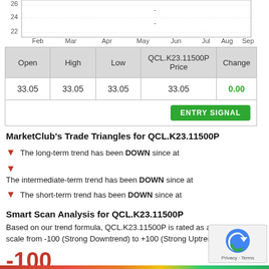[Figure (continuous-plot): Price chart for QCL.K23.11500P showing price around 22-26 range from Feb to Sep with axis labels: 26, 24, 22 on y-axis and Feb, Mar, Apr, May, Jun, Jul, Aug, Sep on x-axis]
| Open | High | Low | QCL.K23.11500P Price | Change |
| --- | --- | --- | --- | --- |
| 33.05 | 33.05 | 33.05 | 33.05 | 0.00 |
ENTRY SIGNAL
MarketClub's Trade Triangles for QCL.K23.11500P
The long-term trend has been DOWN since at
The intermediate-term trend has been DOWN since at
The short-term trend has been DOWN since at
Smart Scan Analysis for QCL.K23.11500P
Based on our trend formula, QCL.K23.11500P is rated as a -100 on a scale from -100 (Strong Downtrend) to +100 (Strong Uptrend).
-100